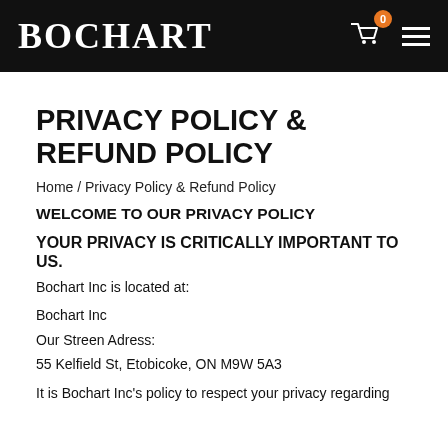BOCHART
PRIVACY POLICY & REFUND POLICY
Home / Privacy Policy & Refund Policy
WELCOME TO OUR PRIVACY POLICY
YOUR PRIVACY IS CRITICALLY IMPORTANT TO US.
Bochart Inc is located at:
Bochart Inc
Our Streen Adress:
55 Kelfield St, Etobicoke, ON M9W 5A3
It is Bochart Inc's policy to respect your privacy regarding